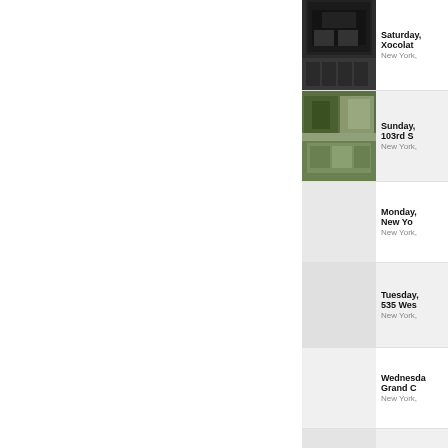[Figure (photo): Photo of a dark glass building storefront]
Saturday,
Xocolat
New York,
[Figure (photo): Aerial photo of a green urban park or market]
Sunday,
103rd S
New York,
Monday,
New Yo
New York,
Tuesday,
535 Wes
New York,
Wednesday,
Grand C
New York,
Thursday,
Whitney,
New York,